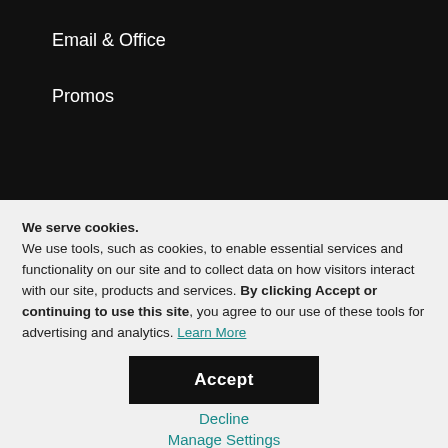Email & Office
Promos
We serve cookies. We use tools, such as cookies, to enable essential services and functionality on our site and to collect data on how visitors interact with our site, products and services. By clicking Accept or continuing to use this site, you agree to our use of these tools for advertising and analytics. Learn More
Accept
Decline
Manage Settings